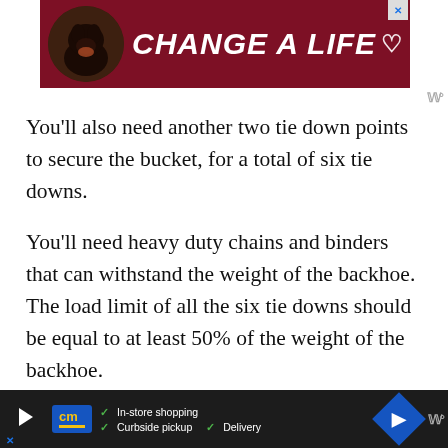[Figure (advertisement): Top banner ad with dark red background, dog image on left, text 'CHANGE A LIFE' with heart icon in white italic bold font, close X button top right]
You’ll also need another two tie down points to secure the bucket, for a total of six tie downs.
You’ll need heavy duty chains and binders that can withstand the weight of the backhoe. The load limit of all the six tie downs should be equal to at least 50% of the weight of the backhoe.
The other crucial step is to identify the right tie down points on the backhoe. These will usually be in
[Figure (advertisement): Bottom dark banner ad with CM logo, checkmarks for In-store shopping, Curbside pickup, Delivery, blue navigation arrow diamond, and wl icon]